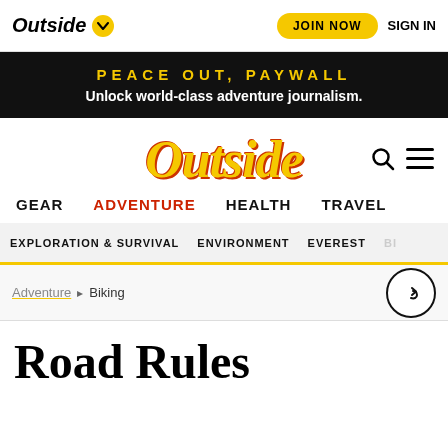Outside | JOIN NOW | SIGN IN
PEACE OUT, PAYWALL
Unlock world-class adventure journalism.
[Figure (logo): Outside magazine large yellow italic logo with red shadow, search icon and hamburger menu icon to the right]
GEAR   ADVENTURE   HEALTH   TRAVEL
EXPLORATION & SURVIVAL   ENVIRONMENT   EVEREST   BI...
Adventure > Biking
Road Rules